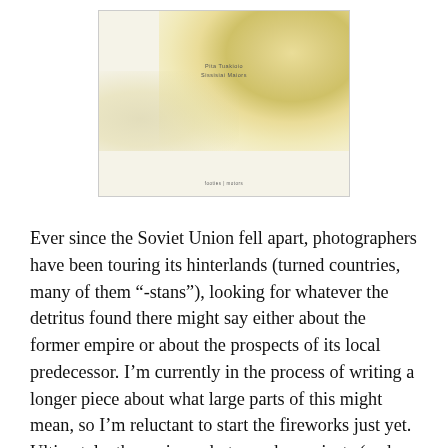[Figure (photo): Book cover image: a square format book cover with a light cream/white background featuring abstract golden-yellow painterly textures or washes. Small text near the top center shows author name and title. Publisher name appears at the bottom center. Border is thin gray line.]
Ever since the Soviet Union fell apart, photographers have been touring its hinterlands (turned countries, many of them “-stans”), looking for whatever the detritus found there might say either about the former empire or about the prospects of its local predecessor. I’m currently in the process of writing a longer piece about what large parts of this might mean, so I’m reluctant to start the fireworks just yet. Ultimately, the various photography projects (and books) might end